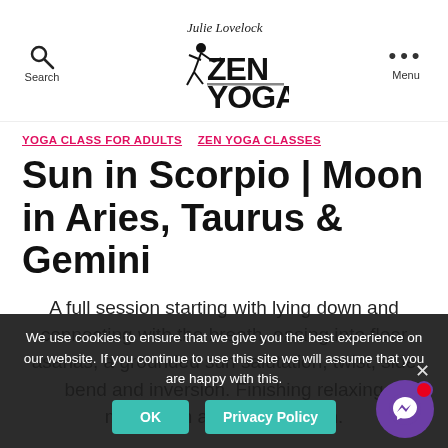Julie Lovelock Zen Yoga — Search | Logo | Menu
YOGA CLASS FOR ADULTS   ZEN YOGA CLASSES
Sun in Scorpio | Moon in Aries, Taurus & Gemini
A full session starting with lying down and connecting with the breath, easing into floor asanas, a grounded sun salutation, twist, side bend and inversion. Finishing relaxing meditation and visualisation.
We use cookies to ensure that we give you the best experience on our website. If you continue to use this site we will assume that you are happy with this.